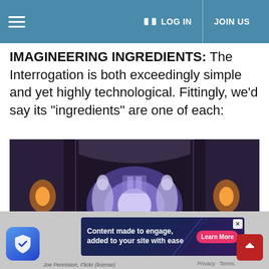LOG IN   JOIN US
IMAGINEERING INGREDIENTS: The Interrogation is both exceedingly simple and yet highly technological. Fittingly, we’d say its “ingredients” are one of each:
[Figure (photo): Dark atmospheric interior scene showing ghost-like glowing figures in a stone corridor or castle hallway with torches on the walls and a bright purple/blue light emanation from the center]
[Figure (screenshot): Advertisement banner reading 'Content made to engage, added to your site with ease' with a pink 'Learn More' button on a dark blue/purple gradient background]